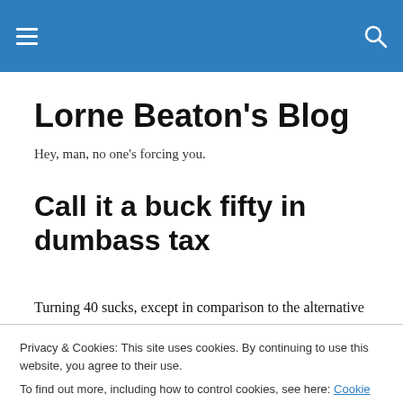Lorne Beaton's Blog (navigation bar)
Lorne Beaton's Blog
Hey, man, no one's forcing you.
Call it a buck fifty in dumbass tax
Turning 40 sucks, except in comparison to the alternative
Privacy & Cookies: This site uses cookies. By continuing to use this website, you agree to their use.
To find out more, including how to control cookies, see here: Cookie Policy
been some time since my last visit – I didn't even know